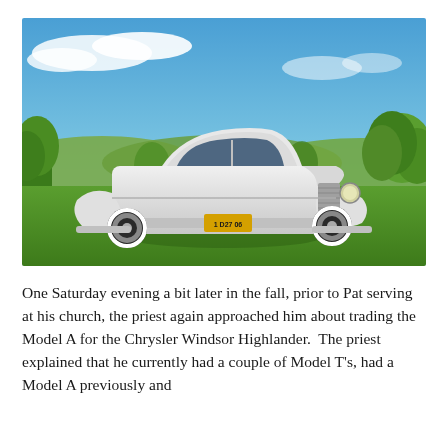[Figure (photo): A vintage white Chrysler Windsor Highlander automobile parked on green grass with trees and rolling hills in the background under a blue sky with light clouds. The car has a yellow license plate reading '1 D27 06'.]
One Saturday evening a bit later in the fall, prior to Pat serving at his church, the priest again approached him about trading the Model A for the Chrysler Windsor Highlander.  The priest explained that he currently had a couple of Model T's, had a Model A previously and